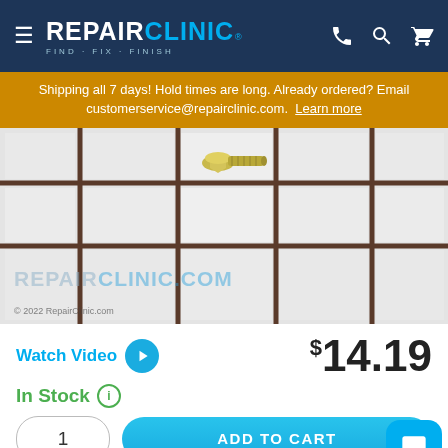[Figure (logo): RepairClinic logo with hamburger menu icon on dark navy background header]
Shipping all 7 days! Hold times are long. Already ordered? Email customerservice@repairclinic.com. Learn more
[Figure (photo): A small hex-head screw/bolt photographed on a white tile grid background with watermark REPAIRCLINIC.COM]
Watch Video
$14.19
In Stock
1
ADD TO CART